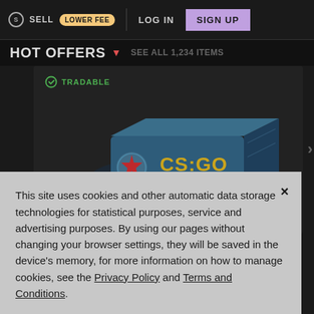SELL LOWER FEE | LOG IN | SIGN UP
HOT OFFERS
[Figure (screenshot): CS:GO Katowice 2015 souvenir package item card with TRADABLE label, showing a blue rectangular package with gold CS:GO logo and Katowice 2015 text, with team logos on the side]
This site uses cookies and other automatic data storage technologies for statistical purposes, service and advertising purposes. By using our pages without changing your browser settings, they will be saved in the device's memory, for more information on how to manage cookies, see the Privacy Policy and Terms and Conditions.